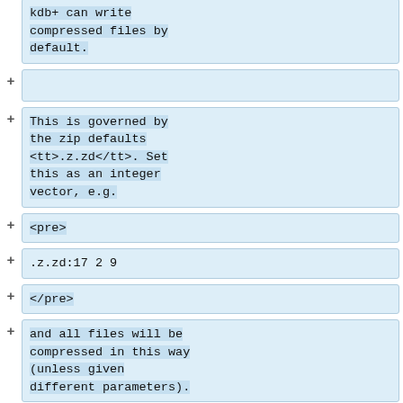kdb+ can write compressed files by default.
This is governed by the zip defaults <tt>.z.zd</tt>. Set this as an integer vector, e.g.
<pre>
.z.zd:17 2 9
</pre>
and all files will be compressed in this way (unless given different parameters).